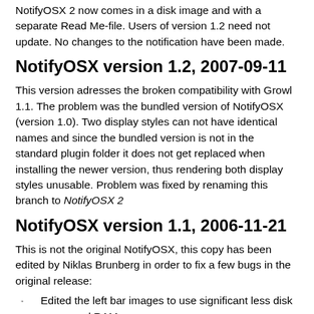NotifyOSX 2 now comes in a disk image and with a separate Read Me-file. Users of version 1.2 need not update. No changes to the notification have been made.
NotifyOSX version 1.2, 2007-09-11
This version adresses the broken compatibility with Growl 1.1. The problem was the bundled version of NotifyOSX (version 1.0). Two display styles can not have identical names and since the bundled version is not in the standard plugin folder it does not get replaced when installing the newer version, thus rendering both display styles unusable. Problem was fixed by renaming this branch to NotifyOSX 2
NotifyOSX version 1.1, 2006-11-21
This is not the original NotifyOSX, this copy has been edited by Niklas Brunberg in order to fix a few bugs in the original release:
Edited the left bar images to use significant less disk space and RAM
Edited the left bar to be able to scale infinitively
Fixed the title and text width to be more unified (better